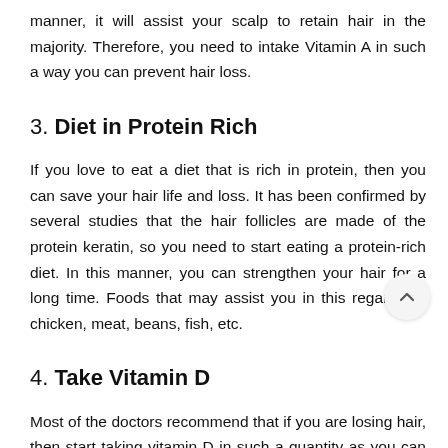manner, it will assist your scalp to retain hair in the majority. Therefore, you need to intake Vitamin A in such a way you can prevent hair loss.
3. Diet in Protein Rich
If you love to eat a diet that is rich in protein, then you can save your hair life and loss. It has been confirmed by several studies that the hair follicles are made of the protein keratin, so you need to start eating a protein-rich diet. In this manner, you can strengthen your hair for a long time. Foods that may assist you in this regard are chicken, meat, beans, fish, etc.
4. Take Vitamin D
Most of the doctors recommend that if you are losing hair, then start taking vitamin D in such a quantity as you can balance